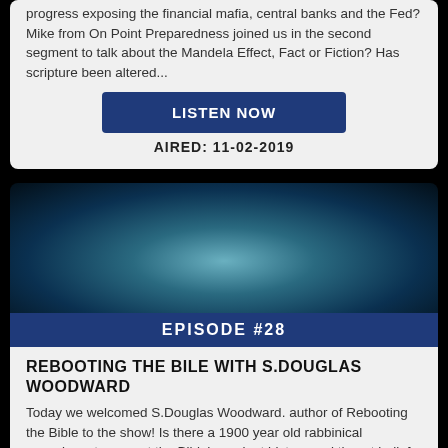progress exposing the financial mafia, central banks and the Fed? Mike from On Point Preparedness joined us in the second segment to talk about the Mandela Effect, Fact or Fiction? Has scripture been altered...
LISTEN NOW
AIRED: 11-02-2019
[Figure (photo): Dark blue-green abstract background image, possibly a globe or sphere]
EPISODE #28
REBOOTING THE BILE WITH S.DOUGLAS WOODWARD
Today we welcomed S.Douglas Woodward. author of Rebooting the Bible to the show! Is there a 1900 year old rabbinical conspiracy to corrupt the Bible's ancient history and thwart belief in Jesus Christ as the Messiah? Why did the